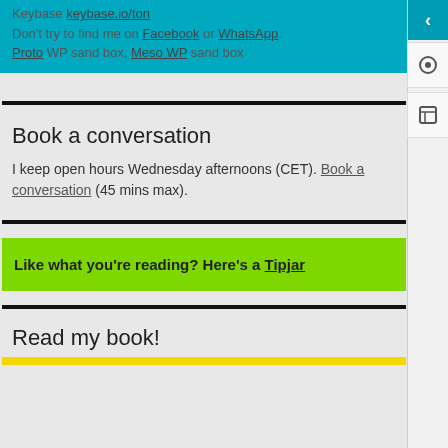Keybase keybase.io/ton Don't try to find me on Facebook or WhatsApp. Proto WP sand box, Meso WP sand box
Book a conversation
I keep open hours Wednesday afternoons (CET). Book a conversation (45 mins max).
Like what you're reading? Here's a Tipjar
Read my book!